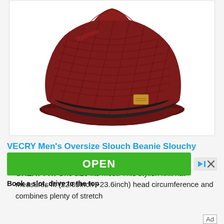[Figure (photo): A dark red/claret knit slouch beanie hat with a visor brim and black fleece lining interior, shown on white background. The hat has a tan/brown leather label tag on the side.]
VECRY Men's Oversize Slouch Beanie Slouchy Skullcap Large Baggy Hat (Visor-Claret)
GREAT FIT: One size fits most. This stylish knit hat measures fit (22.05inch ~23.6inch) head circumference and combines plenty of stretch
[Figure (screenshot): Advertisement banner with green OPEN button and ad close icons (arrow and X). Tagline reads: Book a slot, drive to the top]
Book a slot, drive to the top
Ad